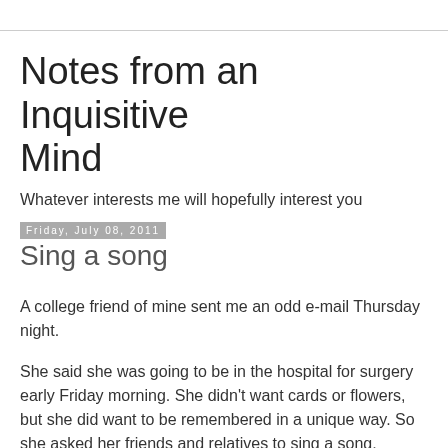Notes from an Inquisitive Mind
Whatever interests me will hopefully interest you
Friday, July 08, 2011
Sing a song
A college friend of mine sent me an odd e-mail Thursday night.
She said she was going to be in the hospital for surgery early Friday morning. She didn't want cards or flowers, but she did want to be remembered in a unique way. So she asked her friends and relatives to sing a song, preferably in public,